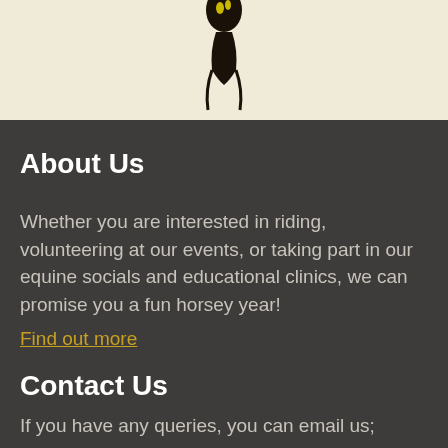[Figure (photo): Partial view of a horse silhouette against a light cream/yellow background, cropped at the top of the page]
About Us
Whether you are interested in riding, volunteering at our events, or taking part in our equine socials and educational clinics, we can promise you a fun horsey year!
Find out more
Contact Us
If you have any queries, you can email us;